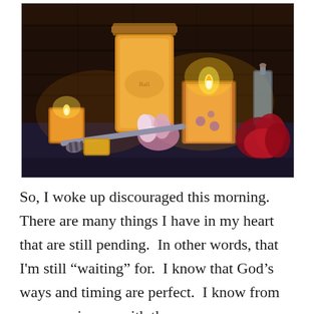[Figure (photo): A cozy still life photograph showing multiple candles in glass jars with warm glowing flames, a large honey jar, flowers including white and red blooms, a honey dipper, and a small bottle of oil, all arranged on a surface against a rustic dark wooden background.]
So, I woke up discouraged this morning.  There are many things I have in my heart that are still pending.  In other words, that I'm still “waiting” for.  I know that God’s ways and timing are perfect.  I know from my experiences with the